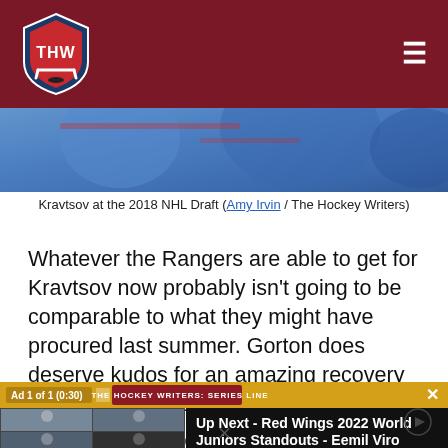THW - The Hockey Writers
[Figure (photo): Partial photo of hockey players in blue jerseys at the 2018 NHL Draft]
Kravtsov at the 2018 NHL Draft (Amy Irvin / The Hockey Writers)
Whatever the Rangers are able to get for Kravtsov now probably isn't going to be comparable to what they might have procured last summer. Gorton does deserve kudos for an amazing recovery from the Andersson debacle, somehow shipping him to the Los Angeles Kings for a 2020 second-
[Figure (screenshot): Video player overlay showing Ad 1 of 1 (0:30) with THW video panel on left (4 participants in video call) and Up Next - Red Wings 2022 World Juniors Standouts - Eemil Viro on dark right panel. Close button (X) in top right.]
If Drury is able to procure the same return for Kravtsov as.